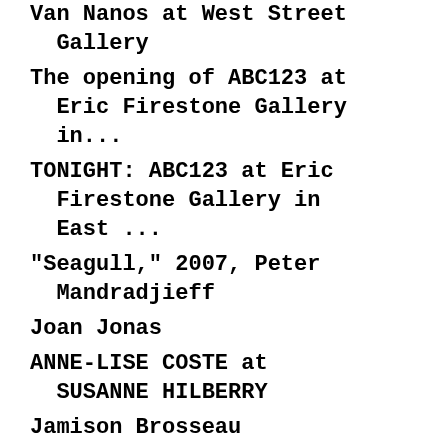Van Nanos at West Street Gallery
The opening of ABC123 at Eric Firestone Gallery in...
TONIGHT: ABC123 at Eric Firestone Gallery in East ...
"Seagull," 2007, Peter Mandradjieff
Joan Jonas
ANNE-LISE COSTE at SUSANNE HILBERRY
Jamison Brosseau
Photos from BEACH ON THE MOON at Wildlife
REMINDER: BEACH ON THE MOON IS ONE NIGHT ONLY AND ...